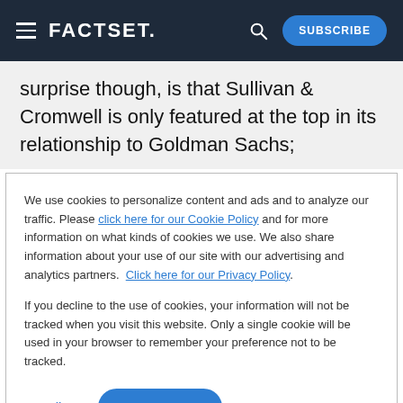FACTSET | SUBSCRIBE
surprise though, is that Sullivan & Cromwell is only featured at the top in its relationship to Goldman Sachs;
We use cookies to personalize content and ads and to analyze our traffic. Please click here for our Cookie Policy and for more information on what kinds of cookies we use. We also share information about your use of our site with our advertising and analytics partners. Click here for our Privacy Policy.

If you decline to the use of cookies, your information will not be tracked when you visit this website. Only a single cookie will be used in your browser to remember your preference not to be tracked.